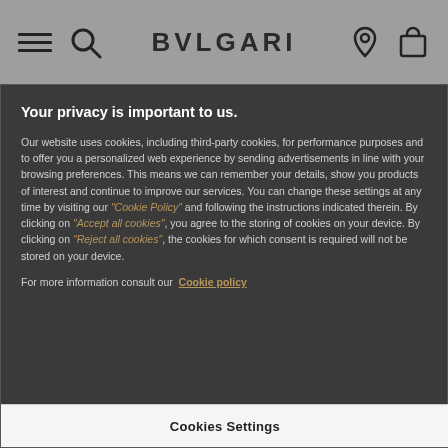BVLGARI
Your privacy is important to us.
Our website uses cookies, including third-party cookies, for performance purposes and to offer you a personalized web experience by sending advertisements in line with your browsing preferences. This means we can remember your details, show you products of interest and continue to improve our services. You can change these settings at any time by visiting our “Cookie Policy” and following the instructions indicated therein. By clicking on “Accept all cookies”, you agree to the storing of cookies on your device. By clicking on “Reject all cookies”, the cookies for which consent is required will not be stored on your device.
For more information consult our Cookie policy
Cookies Settings